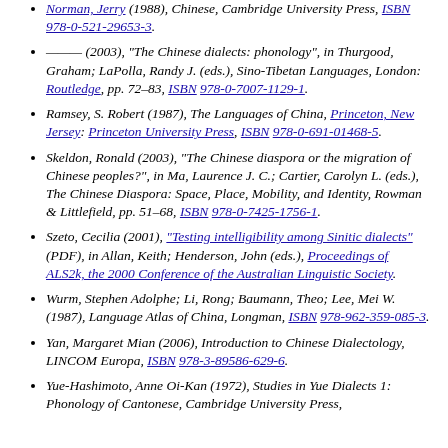Norman, Jerry (1988), Chinese, Cambridge University Press, ISBN 978-0-521-29653-3.
——— (2003), "The Chinese dialects: phonology", in Thurgood, Graham; LaPolla, Randy J. (eds.), Sino-Tibetan Languages, London: Routledge, pp. 72–83, ISBN 978-0-7007-1129-1.
Ramsey, S. Robert (1987), The Languages of China, Princeton, New Jersey: Princeton University Press, ISBN 978-0-691-01468-5.
Skeldon, Ronald (2003), "The Chinese diaspora or the migration of Chinese peoples?", in Ma, Laurence J. C.; Cartier, Carolyn L. (eds.), The Chinese Diaspora: Space, Place, Mobility, and Identity, Rowman & Littlefield, pp. 51–68, ISBN 978-0-7425-1756-1.
Szeto, Cecilia (2001), "Testing intelligibility among Sinitic dialects" (PDF), in Allan, Keith; Henderson, John (eds.), Proceedings of ALS2k, the 2000 Conference of the Australian Linguistic Society.
Wurm, Stephen Adolphe; Li, Rong; Baumann, Theo; Lee, Mei W. (1987), Language Atlas of China, Longman, ISBN 978-962-359-085-3.
Yan, Margaret Mian (2006), Introduction to Chinese Dialectology, LINCOM Europa, ISBN 978-3-89586-629-6.
Yue-Hashimoto, Anne Oi-Kan (1972), Studies in Yue Dialects 1: Phonology of Cantonese, Cambridge University Press,